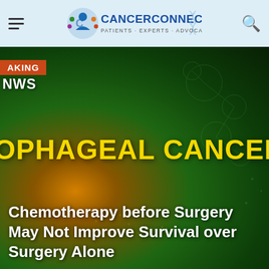CancerConnect — Patients · Experts · Advocates · Community
[Figure (screenshot): CancerConnect website screenshot showing a Breaking News hero banner for Esophageal Cancer News with the headline: Chemotherapy before Surgery May Not Improve Survival over Surgery Alone. The hero image has a dark green and orange gradient background with yellow bold text reading ESOPHAGEAL CANCER NEWS and a Breaking News badge in red-orange.]
Chemotherapy before Surgery May Not Improve Survival over Surgery Alone